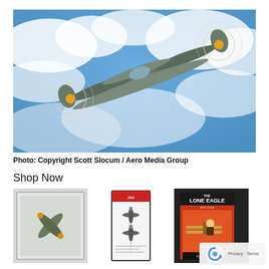[Figure (photo): A WWII-era twin-engine fighter aircraft (P-38 style) in flight against a cloudy blue sky, with spinning propellers visible and yellow spinner caps]
Photo: Copyright Scott Slocum / Aero Media Group
Shop Now
[Figure (photo): Model airplane in plastic packaging blister pack, top-down view of a gray/green WWII fighter with yellow accents]
[Figure (photo): Narrow vertical card with JSA logo and aircraft silhouette diagrams/authentication document]
[Figure (photo): The Lone Eagle magazine cover showing a vintage aviation pulp fiction cover with biplane and pilot artwork]